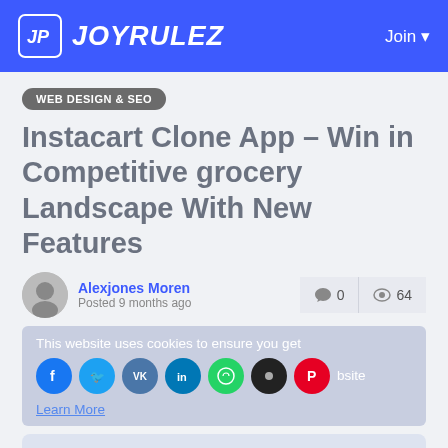JOYRULEZ — Join
WEB DESIGN & SEO
Instacart Clone App – Win in Competitive grocery Landscape With New Features
Alexjones Moren
Posted 9 months ago
0 comments · 64 views
This website uses cookies to ensure you get the best experience on our website Learn More
[Figure (screenshot): Article preview image with grocery illustration, 'New Feature' badge, 'Instacart Clone: Win in Competitive' text]
Instacart Clone:
Win in Competitive